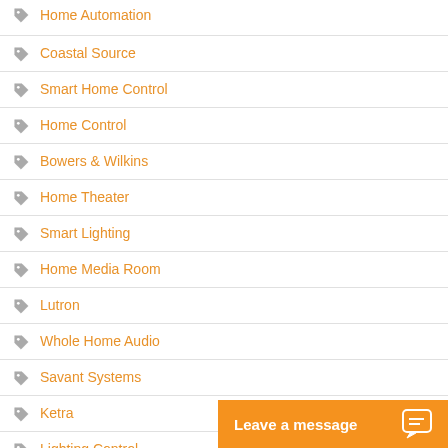Home Automation
Coastal Source
Smart Home Control
Home Control
Bowers & Wilkins
Home Theater
Smart Lighting
Home Media Room
Lutron
Whole Home Audio
Savant Systems
Ketra
Lighting Control
Outdoor Lighting
Savant
(partial)